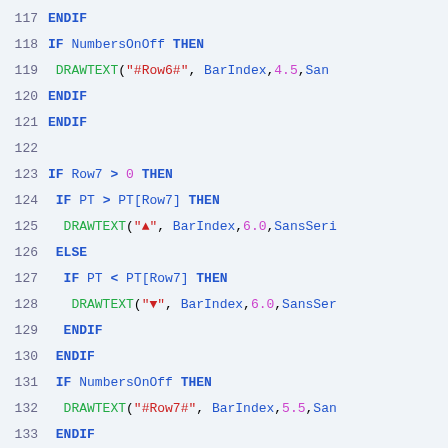[Figure (screenshot): Source code listing lines 117-144, syntax-highlighted code in a light blue/grey background IDE or code editor view showing conditional logic with DRAWTEXT calls]